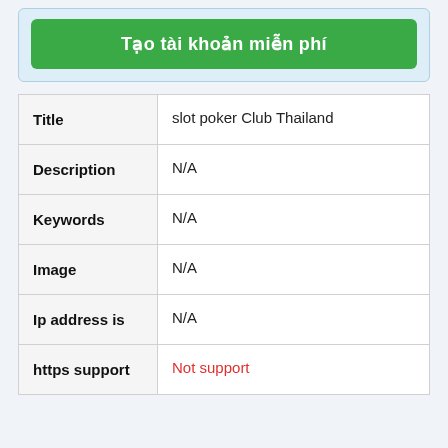[Figure (other): Green button labeled 'Tạo tài khoản miễn phí' inside a light blue banner]
| Field | Value |
| --- | --- |
| Title | slot poker Club Thailand |
| Description | N/A |
| Keywords | N/A |
| Image | N/A |
| Ip address is | N/A |
| https support | Not support |